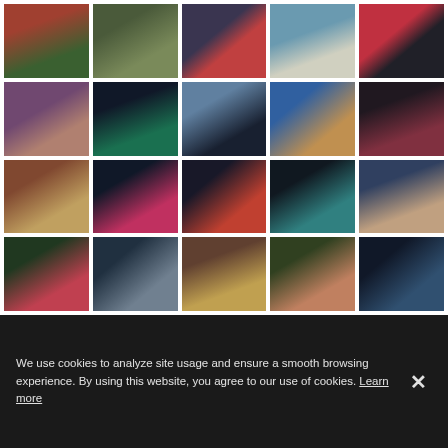[Figure (photo): A 4×5 grid of 20 portrait/fashion photographs, many styled as magazine covers, showing various models and subjects in different outfits and locations.]
We use cookies to analyze site usage and ensure a smooth browsing experience. By using this website, you agree to our use of cookies. Learn more ×